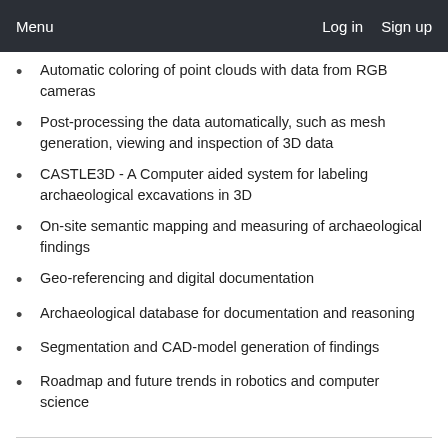Menu   Log in   Sign up
Automatic coloring of point clouds with data from RGB cameras
Post-processing the data automatically, such as mesh generation, viewing and inspection of 3D data
CASTLE3D - A Computer aided system for labeling archaeological excavations in 3D
On-site semantic mapping and measuring of archaeological findings
Geo-referencing and digital documentation
Archaeological database for documentation and reasoning
Segmentation and CAD-model generation of findings
Roadmap and future trends in robotics and computer science